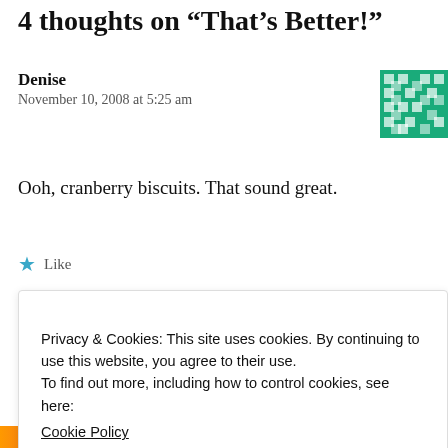4 thoughts on "That's Better!"
Denise
November 10, 2008 at 5:25 am
[Figure (illustration): Green and white pixel avatar/identicon for user Denise]
Ooh, cranberry biscuits. That sound great.
★ Like
Privacy & Cookies: This site uses cookies. By continuing to use this website, you agree to their use.
To find out more, including how to control cookies, see here:
Cookie Policy
Close and accept